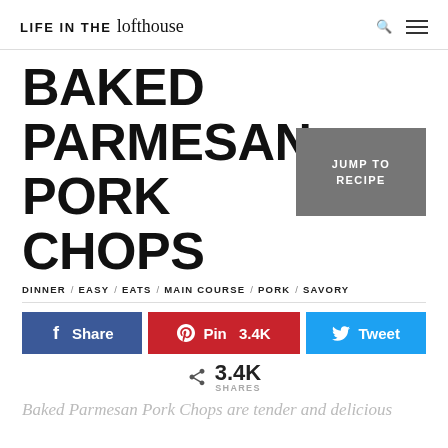LIFE IN THE lofthouse
BAKED PARMESAN PORK CHOPS
JUMP TO RECIPE
DINNER / EASY / EATS / MAIN COURSE / PORK / SAVORY
Share  Pin  3.4K  Tweet
3.4K SHARES
Baked Parmesan Pork Chops are tender and delicious